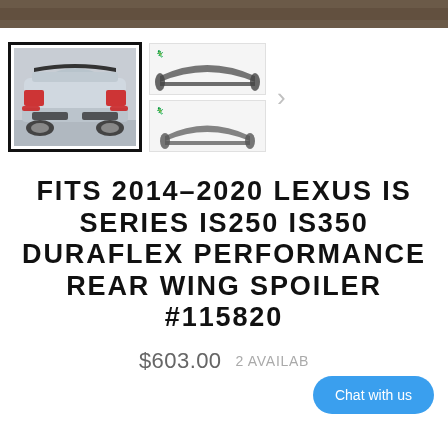[Figure (photo): Top banner image strip (partial, cropped at top of page)]
[Figure (photo): Thumbnail gallery showing: (1) selected thumbnail with border - Lexus IS rear view with spoiler installed on silver car, (2) two smaller thumbnails showing the spoiler part alone from different angles, and a right navigation arrow]
FITS 2014-2020 LEXUS IS SERIES IS250 IS350 DURAFLEX PERFORMANCE REAR WING SPOILER #115820
$603.00  2 AVAILABLE